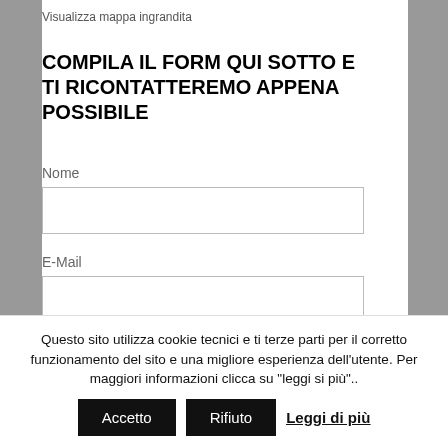Visualizza mappa ingrandita
COMPILA IL FORM QUI SOTTO E TI RICONTATTEREMO APPENA POSSIBILE
Nome
E-Mail
Telefono
Questo sito utilizza cookie tecnici e ti terze parti per il corretto funzionamento del sito e una migliore esperienza dell'utente. Per maggiori informazioni clicca su "leggi si più"..
Accetto | Rifiuto | Leggi di più